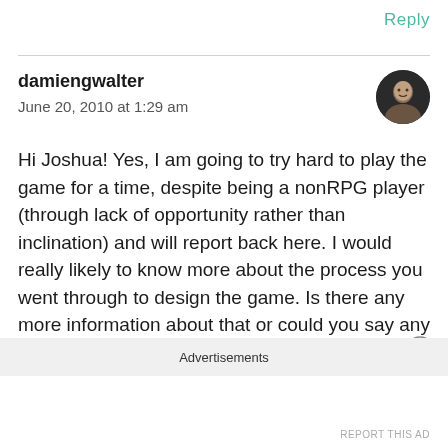Reply
damiengwalter
June 20, 2010 at 1:29 am
Hi Joshua! Yes, I am going to try hard to play the game for a time, despite being a nonRPG player (through lack of opportunity rather than inclination) and will report back here. I would really likely to know more about the process you went through to design the game. Is there any more information about that or could you say any more?
Advertisements